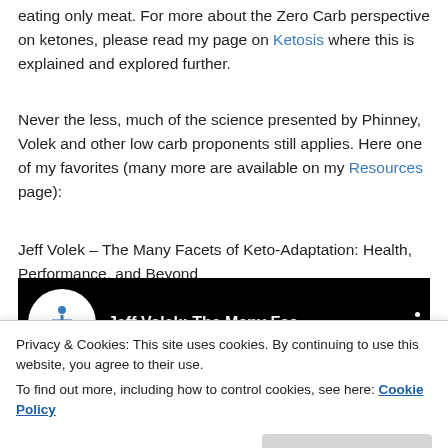eating only meat. For more about the Zero Carb perspective on ketones, please read my page on Ketosis where this is explained and explored further.
Never the less, much of the science presented by Phinney, Volek and other low carb proponents still applies. Here one of my favorites (many more are available on my Resources page):
Jeff Volek – The Many Facets of Keto-Adaptation: Health, Performance, and Beyond
[Figure (screenshot): YouTube video thumbnail showing Jeff Volek: The Many Fac... with a blue accessibility icon logo on black background and a three-dot menu icon]
Privacy & Cookies: This site uses cookies. By continuing to use this website, you agree to their use.
To find out more, including how to control cookies, see here: Cookie Policy
Close and accept